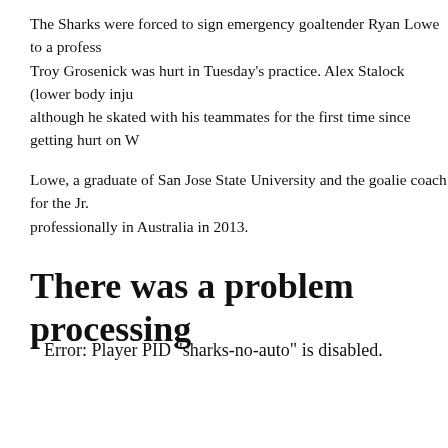The Sharks were forced to sign emergency goaltender Ryan Lowe to a profess... Troy Grosenick was hurt in Tuesday’s practice. Alex Stalock (lower body inju... although he skated with his teammates for the first time since getting hurt on W...
Lowe, a graduate of San Jose State University and the goalie coach for the Jr.... professionally in Australia in 2013.
There was a problem processing
Error: Player PID “sharks-no-auto” is disabled.